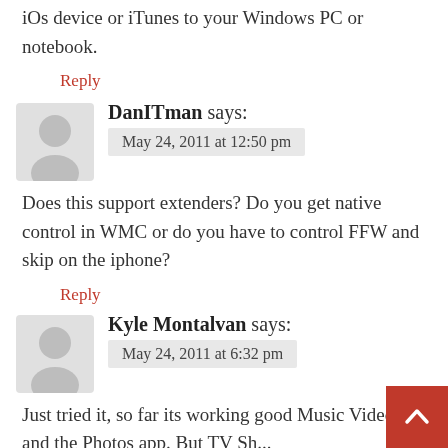iOs device or iTunes to your Windows PC or notebook.
Reply
DanITman says:
May 24, 2011 at 12:50 pm
Does this support extenders? Do you get native control in WMC or do you have to control FFW and skip on the iphone?
Reply
Kyle Montalvan says:
May 24, 2011 at 6:32 pm
Just tried it, so far its working good Music Videos and the Photos app. But TV Shows and Movies I haven't checked